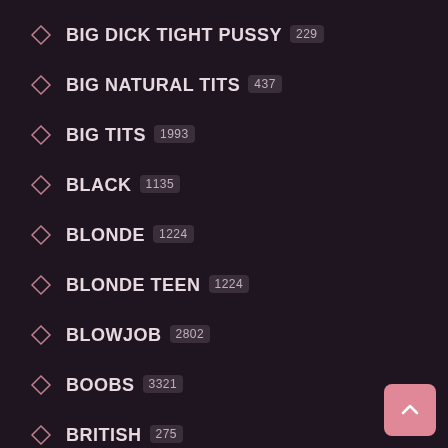BIG DICK TIGHT PUSSY 229
BIG NATURAL TITS 437
BIG TITS 1993
BLACK 1135
BLONDE 1224
BLONDE TEEN 1224
BLOWJOB 2802
BOOBS 3321
BRITISH 275